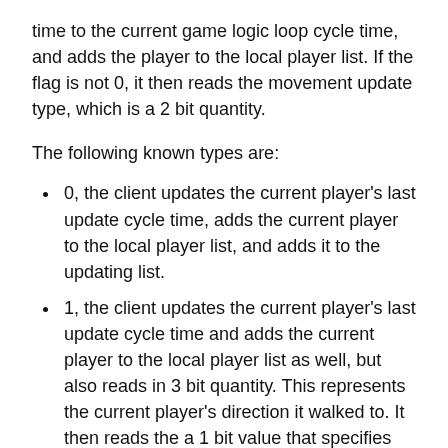time to the current game logic loop cycle time, and adds the player to the local player list. If the flag is not 0, it then reads the movement update type, which is a 2 bit quantity.
The following known types are:
0, the client updates the current player's last update cycle time, adds the current player to the local player list, and adds it to the updating list.
1, the client updates the current player's last update cycle time and adds the current player to the local player list as well, but also reads in 3 bit quantity. This represents the current player's direction it walked to. It then reads the a 1 bit value that specifies whether or not to add the player to the updating list.
2, the client does the exact same thing as the type 2 update, except it reads in two of the 3 bit quantities. The first represents the current